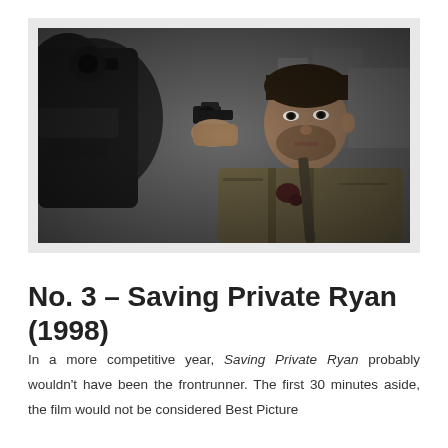[Figure (photo): A still from the film Saving Private Ryan (1998) showing a soldier (Tom Hanks) aiming a pistol directly at the camera, wearing a dirty military uniform, with dark military machinery visible on the left and a blurred war-torn background.]
No. 3 – Saving Private Ryan (1998)
In a more competitive year, Saving Private Ryan probably wouldn't have been the frontrunner. The first 30 minutes aside, the film would not be considered Best Picture